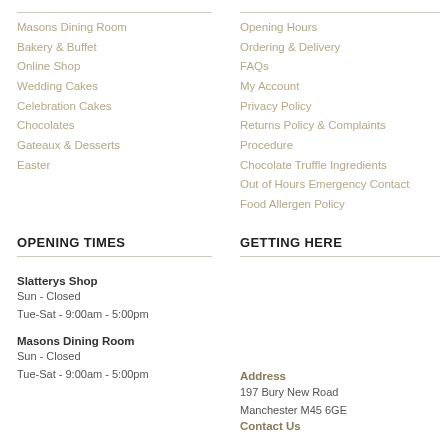Masons Dining Room
Bakery & Buffet
Online Shop
Wedding Cakes
Celebration Cakes
Chocolates
Gateaux & Desserts
Easter
Opening Hours
Ordering & Delivery
FAQs
My Account
Privacy Policy
Returns Policy & Complaints
Procedure
Chocolate Truffle Ingredients
Out of Hours Emergency Contact
Food Allergen Policy
OPENING TIMES
GETTING HERE
Slatterys Shop
Sun - Closed
Tue-Sat - 9:00am - 5:00pm
Masons Dining Room
Sun - Closed
Tue-Sat - 9:00am - 5:00pm
Address
197 Bury New Road
Manchester M45 6GE
Contact Us